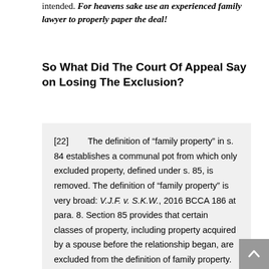intended. For heavens sake use an experienced family lawyer to properly paper the deal!
So What Did The Court Of Appeal Say on Losing The Exclusion?
[22]    The definition of “family property” in s. 84 establishes a communal pot from which only excluded property, defined under s. 85, is removed. The definition of “family property” is very broad: V.J.F. v. S.K.W., 2016 BCCA 186 at para. 8. Section 85 provides that certain classes of property, including property acquired by a spouse before the relationship began, are excluded from the definition of family property. The categorization of property as family property or excluded property is significant as each spouse is generally entitled